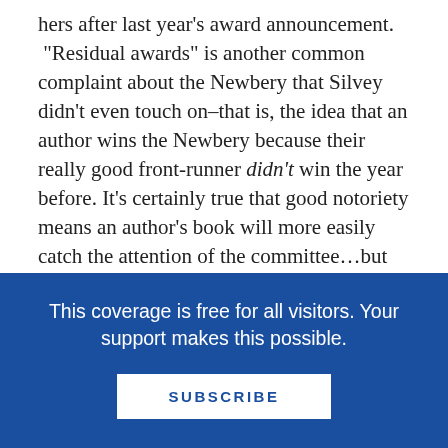hers after last year's award announcement. "Residual awards" is another common complaint about the Newbery that Silvey didn't even touch on–that is, the idea that an author wins the Newbery because their really good front-runner didn't win the year before. It's certainly true that good notoriety means an author's book will more easily catch the attention of the committee…but the committee sees everything, and is just as likely to award a sleeper.
Another librarian's thoughtful response to the article caught my attention thanks to both Monica Edinger and Roxanne Feldman (aka fairrosa).
And Fuse#8 seized the right day to post her 2009
This coverage is free for all visitors. Your support makes this possible.
SUBSCRIBE